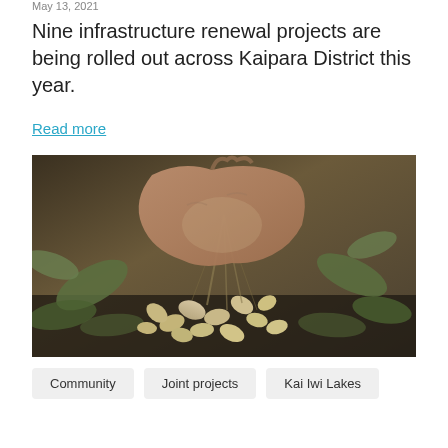May 13, 2021
Nine infrastructure renewal projects are being rolled out across Kaipara District this year.
Read more
[Figure (photo): Close-up photo of a person's hands holding peanut plant with peanuts still attached to roots, surrounded by green leafy plants.]
Community
Joint projects
Kai Iwi Lakes